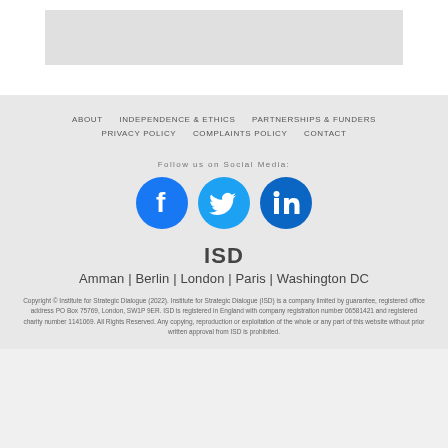[Figure (other): White rectangle area at top of page (partial content placeholder)]
ABOUT   INDEPENDENCE & ETHICS   PARTNERSHIPS & FUNDERS
PRIVACY POLICY   COMPLAINTS POLICY   CONTACT
Follow us on Social Media:
[Figure (illustration): Three social media circular icons: Facebook (dark blue with white f), Twitter (light blue with white bird), LinkedIn (dark blue with white in)]
ISD
Amman | Berlin | London | Paris | Washington DC
Copyright © Institute for Strategic Dialogue (2022). Institute for Strategic Dialogue (ISD) is a company limited by guarantee, registered office address PO Box 75769, London, SW1P 9ER. ISD is registered in England with company registration number 06581421 and registered charity number 1141069. All Rights Reserved. Any copying, reproduction or exploitation of the whole or any part of this website without prior written approval from ISD is prohibited.